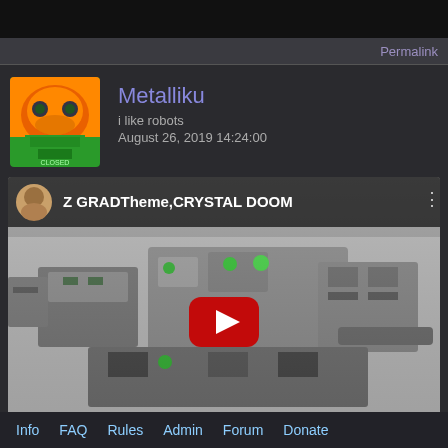Permalink
Metalliku
i like robots
August 26, 2019 14:24:00
[Figure (screenshot): YouTube video embed showing a mech/robot thumbnail with title 'Z GRAD Theme,CRYSTAL DOOM' and a red play button overlay]
Info  FAQ  Rules  Admin  Forum  Donate